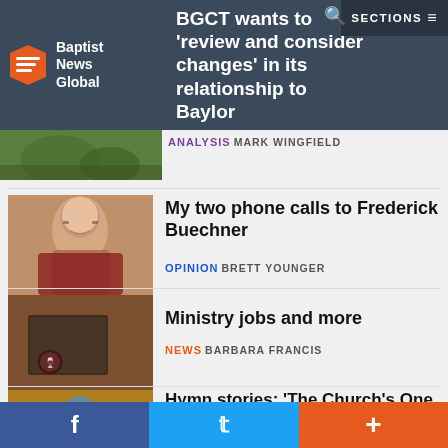[Figure (screenshot): Baptist News Global logo with orange speech bubble icon]
BGCT wants to 'review and consider changes' in its relationship to Baylor
ANALYSIS MARK WINGFIELD
[Figure (photo): Elderly man with glasses resting chin on hand, wearing red sweater]
My two phone calls to Frederick Buechner
OPINION BRETT YOUNGER
[Figure (photo): Bible with communion cup and bread on burlap]
Ministry jobs and more
NEWS BARBARA FRANCIS
[Figure (photo): Church interior with tall wooden arches and stained glass]
Hymn stories: ‘The Church’s One Foundation’
OPINION BEVERLY L. HOWARD